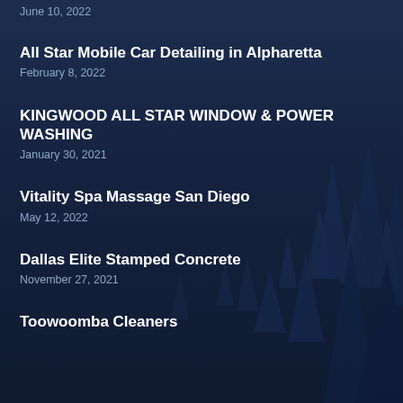June 10, 2022
All Star Mobile Car Detailing in Alpharetta
February 8, 2022
KINGWOOD ALL STAR WINDOW & POWER WASHING
January 30, 2021
Vitality Spa Massage San Diego
May 12, 2022
Dallas Elite Stamped Concrete
November 27, 2021
Toowoomba Cleaners